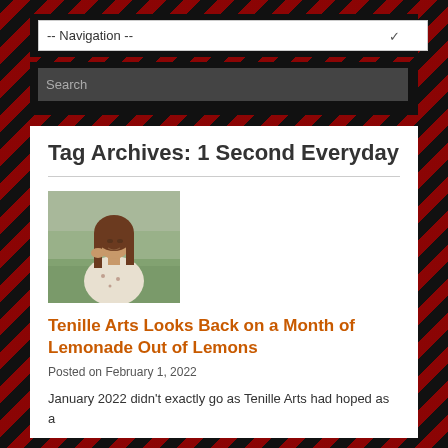-- Navigation --
Search
Tag Archives: 1 Second Everyday
[Figure (photo): A young woman with long brown hair sitting outdoors in a field, wearing a light floral top, looking to the side]
Tenille Arts Looks Back on a Month of Lemonade Out of Lemons
Posted on February 1, 2022
January 2022 didn't exactly go as Tenille Arts had hoped as a